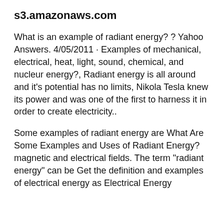s3.amazonaws.com
What is an example of radiant energy? ? Yahoo Answers. 4/05/2011 · Examples of mechanical, electrical, heat, light, sound, chemical, and nucleur energy?, Radiant energy is all around and it's potential has no limits, Nikola Tesla knew its power and was one of the first to harness it in order to create electricity..
Some examples of radiant energy are What Are Some Examples and Uses of Radiant Energy? magnetic and electrical fields. The term "radiant energy" can be Get the definition and examples of electrical energy as Electrical Energy